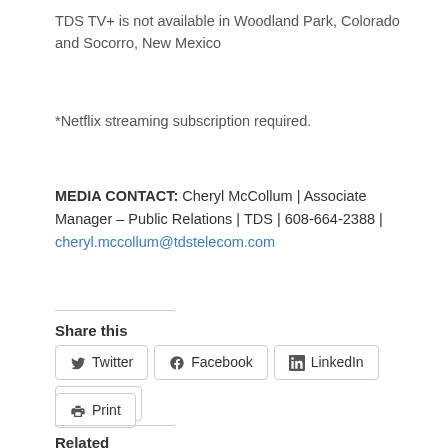TDS TV+ is not available in Woodland Park, Colorado and Socorro, New Mexico
*Netflix streaming subscription required.
MEDIA CONTACT: Cheryl McCollum | Associate Manager – Public Relations | TDS | 608-664-2388 | cheryl.mccollum@tdstelecom.com
Share this
Twitter  Facebook  LinkedIn  Email  Print
Related